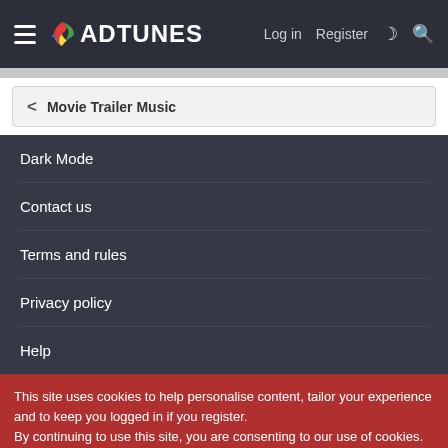ADTUNES — Log in  Register
< Movie Trailer Music
Dark Mode
Contact us
Terms and rules
Privacy policy
Help
This site uses cookies to help personalise content, tailor your experience and to keep you logged in if you register.
By continuing to use this site, you are consenting to our use of cookies.